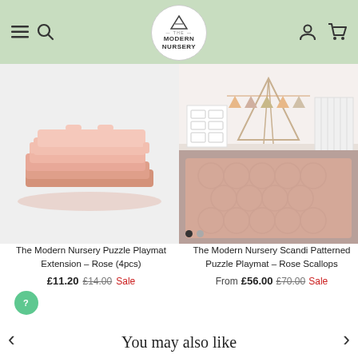The Modern Nursery
[Figure (photo): Product image of stacked rose-colored foam puzzle playmat extension pieces]
The Modern Nursery Puzzle Playmat Extension – Rose (4pcs)
£11.20  £14.00  Sale
[Figure (photo): Product image of a rose scallop patterned puzzle playmat laid on a nursery floor with teepee tent and crib in background]
The Modern Nursery Scandi Patterned Puzzle Playmat – Rose Scallops
From  £56.00  £70.00  Sale
You may also like